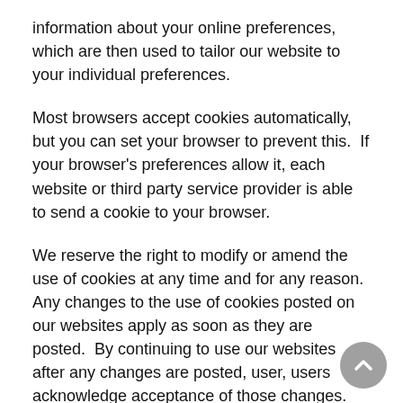information about your online preferences, which are then used to tailor our website to your individual preferences.
Most browsers accept cookies automatically, but you can set your browser to prevent this.  If your browser's preferences allow it, each website or third party service provider is able to send a cookie to your browser.
We reserve the right to modify or amend the use of cookies at any time and for any reason.  Any changes to the use of cookies posted on our websites apply as soon as they are posted.  By continuing to use our websites after any changes are posted, user, users acknowledge acceptance of those changes.
b. How do we use cookies?
We do not use cookies to collect personally identifiable information about you as a user of our websites.